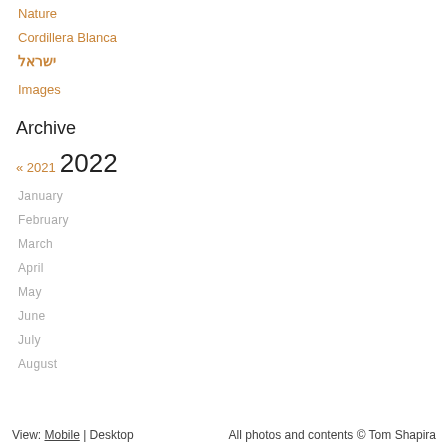Nature
Cordillera Blanca
ישראל
Images
Archive
« 2021  2022
January
February
March
April
May
June
July
August
View: Mobile | Desktop    All photos and contents © Tom Shapira